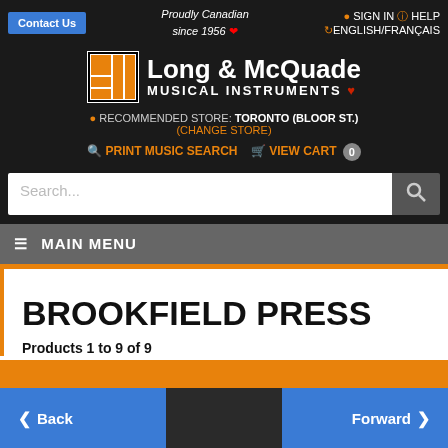Contact Us | Proudly Canadian since 1956 | SIGN IN | HELP | ENGLISH/FRANÇAIS
[Figure (logo): Long & McQuade Musical Instruments logo with orange and black grid icon]
RECOMMENDED STORE: TORONTO (BLOOR ST.) (CHANGE STORE)
PRINT MUSIC SEARCH  VIEW CART 0
Search...
≡ MAIN MENU
BROOKFIELD PRESS
Products 1 to 9 of 9
Back  Forward